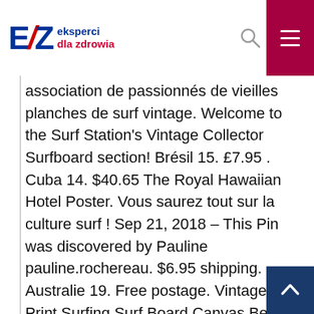eksperci dla zdrowia (logo/navigation header)
association de passionnés de vieilles planches de surf vintage. Welcome to the Surf Station's Vintage Collector Surfboard section! Brésil 15. £7.95 . Cuba 14. $40.65 The Royal Hawaiian Hotel Poster. Vous saurez tout sur la culture surf ! Sep 21, 2018 – This Pin was discovered by Pauline pauline.rochereau. $6.95 shipping. Australie 19. Free postage. Vintage Art Print Surfing Surf Board Canvas Beach men Photo Australia . Chine 4. Vintage Surf Art is an iconic surf culture and beach lifestyle brand. Les meilleures offres pour Vintage Art Bois Planche De Surf Bar Top Wall Decor Hawaiian TIKI Bar Décoration sont sur eBay Comparez les prix et les spécificités des produits neufs et d'occasion Pleins d'articles en livraison gratuite!